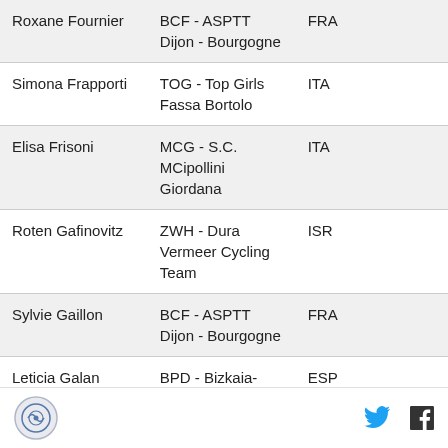| Name | Team | Country |  |
| --- | --- | --- | --- |
| Roxane Fournier | BCF - ASPTT Dijon - Bourgogne | FRA |  |
| Simona Frapporti | TOG - Top Girls Fassa Bortolo | ITA |  |
| Elisa Frisoni | MCG - S.C. MCipollini Giordana | ITA |  |
| Roten Gafinovitz | ZWH - Dura Vermeer Cycling Team | ISR |  |
| Sylvie Gaillon | BCF - ASPTT Dijon - Bourgogne | FRA |  |
| Leticia Galan | BPD - Bizkaia- | ESP |  |
Logo | Twitter | Facebook